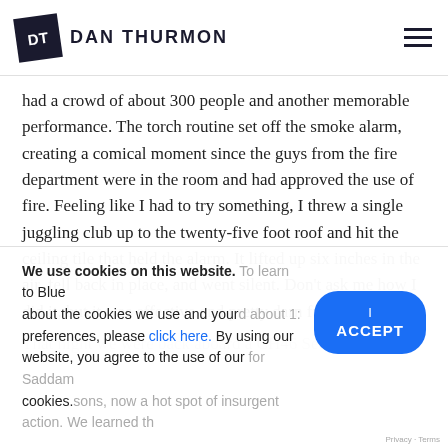DT DAN THURMON
had a crowd of about 300 people and another memorable performance. The torch routine set off the smoke alarm, creating a comical moment since the guys from the fire department were in the room and had approved the use of fire. Feeling like I had to try something, I threw a single juggling club up to the twenty-five foot roof and hit the ceiling tile that held the alarm. It lifted up six inches in the air, fell back in place, and went silent. Don't ask me how I did it, but it was effective and pretty darn funny.
That night we were back aboard a CH46 Sea Knight and [partially obscured] to Blue [partially obscured] about 1:[partially obscured] [partially obscured] for Saddam [partially obscured] sons, now a hot spot of insurgent action. We learned th[partially obscured]
We use cookies on this website. To learn about the cookies we use and your preferences, please click here. By using our website, you agree to the use of our cookies.